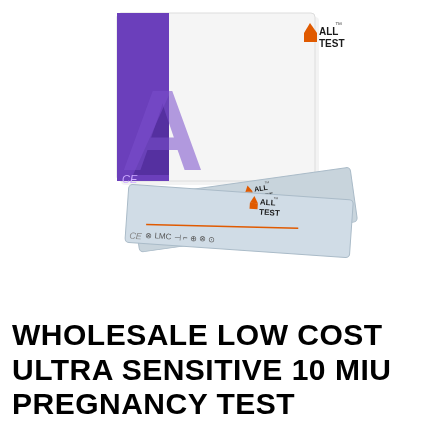[Figure (photo): Product photo of AllTest brand pregnancy test kit — a white box with purple/violet large 'A' logo on side, orange-and-black ALL TEST logo in top right, and two gray test strip packets fanned in front of the box, each showing the AllTest logo and test strip symbols.]
WHOLESALE LOW COST ULTRA SENSITIVE 10 MIU PREGNANCY TEST